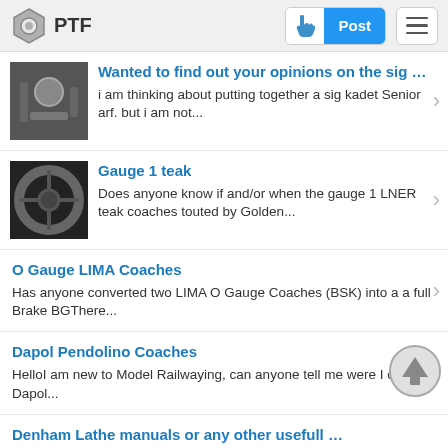PTF | Post
Wanted to find out your opinions on the sig … — i am thinking about putting together a sig kadet Senior arf. but i am not...
Gauge 1 teak — Does anyone know if and/or when the gauge 1 LNER teak coaches touted by Golden...
O Gauge LIMA Coaches — Has anyone converted two LIMA O Gauge Coaches (BSK) into a a full Brake BGThere...
Dapol Pendolino Coaches — HelloI am new to Model Railwaying, can anyone tell me were I can get Dapol...
Denham Lathe manuals or any other usefull … — Hi ChapsI am on the lookout for any info for a Denham Junior Lathe Mk. 2 Model...